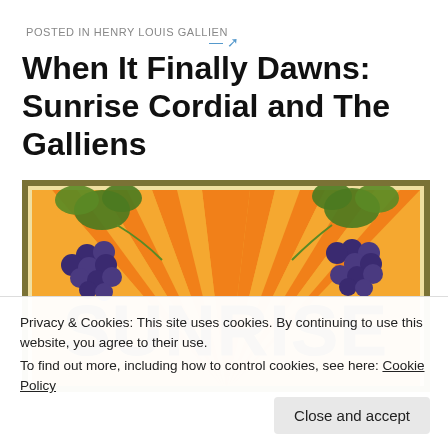POSTED IN HENRY LOUIS GALLIEN
When It Finally Dawns: Sunrise Cordial and The Galliens
[Figure (illustration): Vintage Sunrise Cordial label featuring large orange sunburst rays background with decorative grape vines and clusters of dark purple/blue grapes on both left and right sides. The word SUNRISE is prominently displayed in large dark brown/olive letters across the center. The label has a dark olive/gold border.]
Privacy & Cookies: This site uses cookies. By continuing to use this website, you agree to their use.
To find out more, including how to control cookies, see here: Cookie Policy
Close and accept